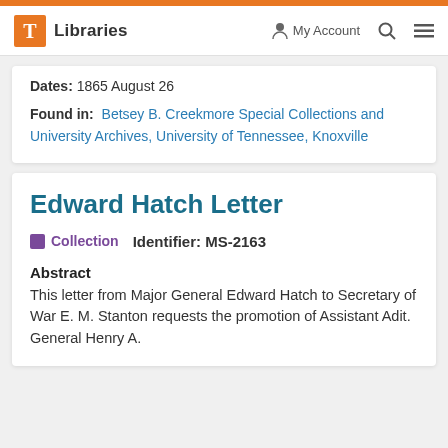T Libraries  My Account  [Search] [Menu]
Dates: 1865 August 26
Found in: Betsey B. Creekmore Special Collections and University Archives, University of Tennessee, Knoxville
Edward Hatch Letter
Collection   Identifier: MS-2163
Abstract
This letter from Major General Edward Hatch to Secretary of War E. M. Stanton requests the promotion of Assistant Adit. General Henry A.